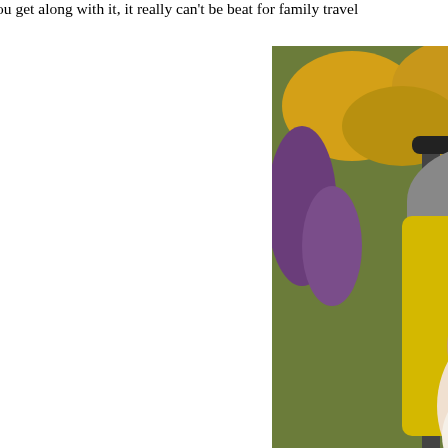privacy you get along with it, it really can't be beat for family travel
[Figure (photo): Two babies/toddlers sitting in a double stroller with yellow accents, surrounded by yellow flowers in the background. An adult's hand is visible at top right.]
PublicDomainPictures.net - Peter Griffin
Rent baby equipment. Dragging all your bags and kids along can be more when you travel. You don't want to worry whether or not your buggy or ca destination as well. You also have to pay baggage fees for those items. Sav more free by renting those items at your destination. BabiesTravelLite has locations across the globe where you may pay less for an entire week's ren to check it at the airport (one-way) to your destination. That way, you don' you own or deal with your personal equipment being damaged in transit.
[Figure (photo): Partial image at bottom of page showing a blue sky scene.]